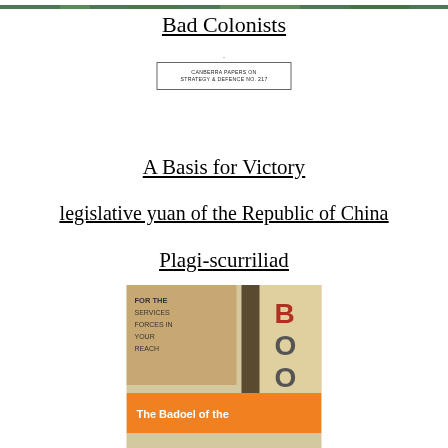[Figure (photo): Top cropped photo, appears to show a green outdoor scene]
Bad Colonists
[Figure (other): Small boxed label reading: CANBERRA PAPERS ON STRATEGY & DEFENCE NO. 217]
A Basis for Victory
legislative yuan of the Republic of China
Plagi-scurriliad
[Figure (photo): Bottom cropped photo showing a book cover with text 'FOR THE SERVICES FORCES IN YOUR REACH' and 'The Badoel of the ...' with orange banner, letters B O O visible]